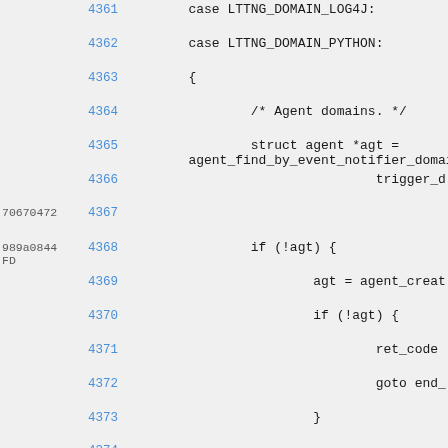[Figure (screenshot): Source code diff view showing C code lines 4361-4375 with git hashes and line numbers. Code includes case statements for LTTNG_DOMAIN_LOG4J and LTTNG_DOMAIN_PYTHON, agent domain handling with agent_find_by_event_notifier_domain, agent_create, and related control flow.]